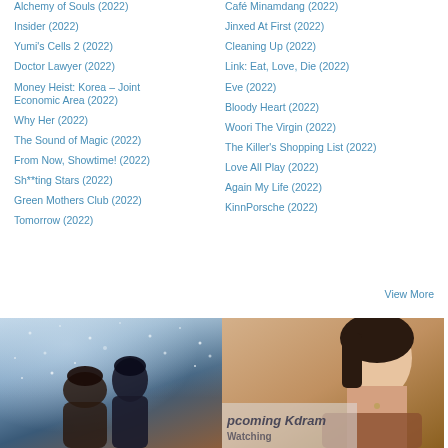Alchemy of Souls (2022)
Café Minamdang (2022)
Insider (2022)
Jinxed At First (2022)
Yumi's Cells 2 (2022)
Cleaning Up (2022)
Doctor Lawyer (2022)
Link: Eat, Love, Die (2022)
Money Heist: Korea – Joint Economic Area (2022)
Eve (2022)
Bloody Heart (2022)
Why Her (2022)
Woori The Virgin (2022)
The Sound of Magic (2022)
The Killer's Shopping List (2022)
From Now, Showtime! (2022)
Love All Play (2022)
Sh**ting Stars (2022)
Again My Life (2022)
Green Mothers Club (2022)
KinnPorsche (2022)
Tomorrow (2022)
View More
[Figure (photo): Two people standing in a snowy winter scene, looking up, with snow falling around them]
[Figure (photo): Close-up of a woman's face with text 'pcoming Kdram' overlaid at the bottom, warm orange/brown background]